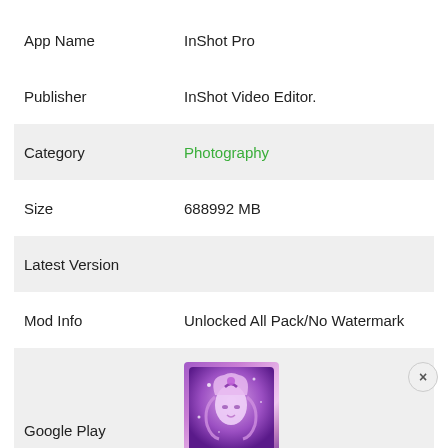| Field | Value |
| --- | --- |
| App Name | InShot Pro |
| Publisher | InShot Video Editor. |
| Category | Photography |
| Size | 688992 MB |
| Latest Version |  |
| Mod Info | Unlocked All Pack/No Watermark |
| Google Play | [image] |